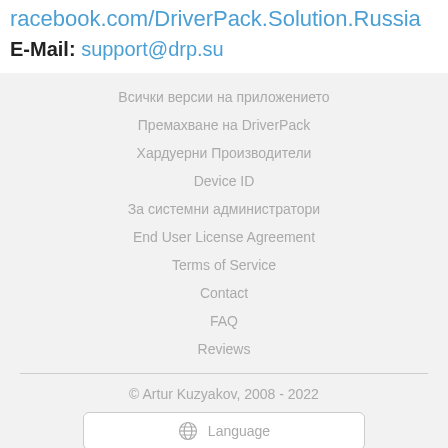facebook.com/DriverPack.Solution.Russia
E-Mail: support@drp.su
Всички версии на приложението
Премахване на DriverPack
Хардуерни Производители
Device ID
За системни администратори
End User License Agreement
Terms of Service
Contact
FAQ
Reviews
© Artur Kuzyakov, 2008 - 2022
Language